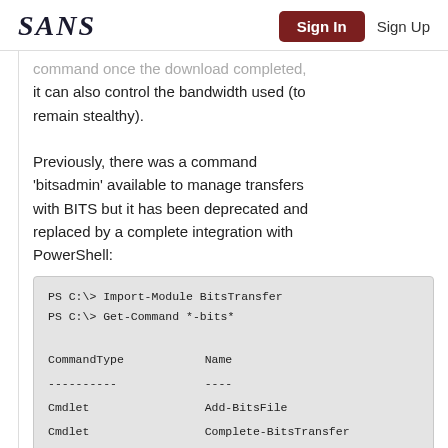SANS  Sign In  Sign Up
command once the download completed, it can also control the bandwidth used (to remain stealthy).
Previously, there was a command 'bitsadmin' available to manage transfers with BITS but it has been deprecated and replaced by a complete integration with PowerShell:
[Figure (screenshot): Code block showing PowerShell commands: PS C:\> Import-Module BitsTransfer, PS C:\> Get-Command *-bits*, followed by a table with columns CommandType and Name showing rows: ---------- ----, Cmdlet Add-BitsFile, Cmdlet Complete-BitsTransfer, Cmdlet Get-BitsTransfer (cut off)]